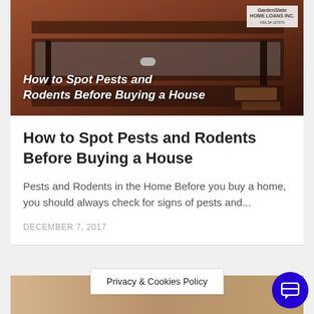[Figure (photo): Hero image of wooden furniture/drawers with white italic bold overlay text reading 'How to Spot Pests and Rodents Before Buying a House' and a Garden State Home Loans logo in top right corner]
How to Spot Pests and Rodents Before Buying a House
Pests and Rodents in the Home Before you buy a home, you should always check for signs of pests and...
DECEMBER 7, 2017
Privacy & Cookies Policy